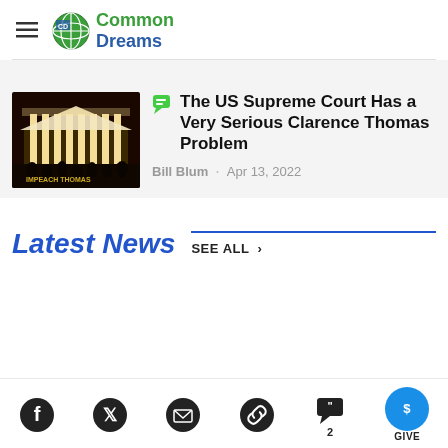Common Dreams
[Figure (photo): Nighttime photo of the US Supreme Court building with 'Impeach Thomas' text/crowd visible at base]
The US Supreme Court Has a Very Serious Clarence Thomas Problem
Bill Blum · Apr 13, 2022
Latest News
SEE ALL >